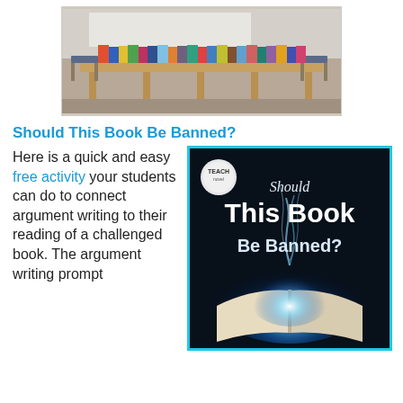[Figure (photo): Photograph of a library table with books displayed in a row, chairs visible on both sides, taken in a school or public library setting.]
Should This Book Be Banned?
Here is a quick and easy free activity your students can do to connect argument writing to their reading of a challenged book. The argument writing prompt
[Figure (illustration): Promotional image with dark background showing an open book with glowing blue light and smoke rising from it. Text reads 'Should This Book Be Banned?' in white and script fonts. Small circular logo in top left corner.]